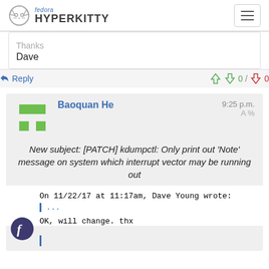fedora HYPERKITTY
Thanks
Dave
Reply   0 / 0
Baoquan He   9:25 p.m.
New subject: [PATCH] kdumpctl: Only print out 'Note' message on system which interrupt vector may be running out
On 11/22/17 at 11:17am, Dave Young wrote:
...

OK, will change. thx